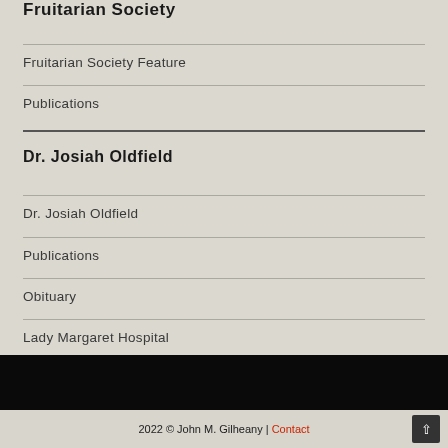Fruitarian Society
Fruitarian Society Feature
Publications
Dr. Josiah Oldfield
Dr. Josiah Oldfield
Publications
Obituary
Lady Margaret Hospital
2022 © John M. Gilheany | Contact